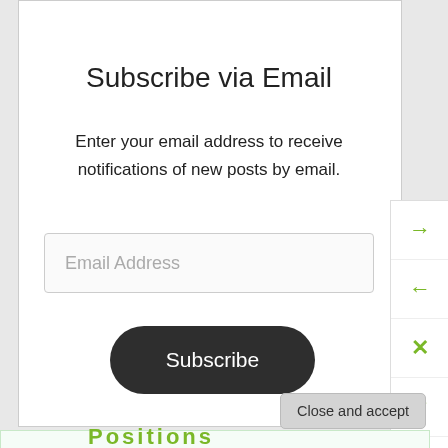Subscribe via Email
Enter your email address to receive notifications of new posts by email.
Email Address
Subscribe
Privacy & Cookies: This site uses cookies. By continuing to use this website, you agree to their use.
To find out more, including how to control cookies, see here: Cookie Policy
Close and accept
Positions